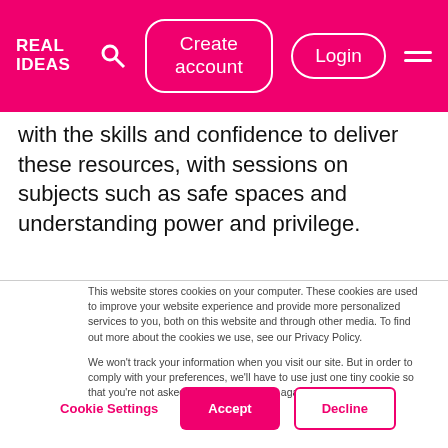Real Ideas — navigation header with Create account, Login, search, and menu buttons
with the skills and confidence to deliver these resources, with sessions on subjects such as safe spaces and understanding power and privilege.
This website stores cookies on your computer. These cookies are used to improve your website experience and provide more personalized services to you, both on this website and through other media. To find out more about the cookies we use, see our Privacy Policy.

We won't track your information when you visit our site. But in order to comply with your preferences, we'll have to use just one tiny cookie so that you're not asked to make this choice again.
Cookie Settings  Accept  Decline